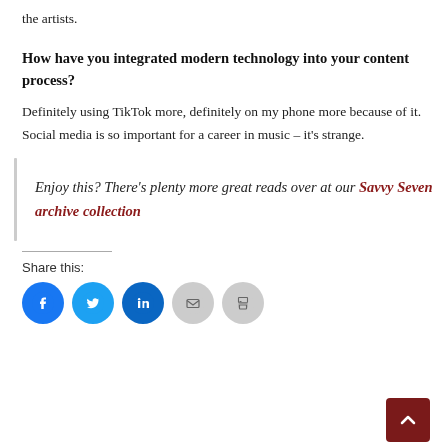the artists.
How have you integrated modern technology into your content process?
Definitely using TikTok more, definitely on my phone more because of it. Social media is so important for a career in music – it's strange.
Enjoy this? There's plenty more great reads over at our Savvy Seven archive collection
Share this: